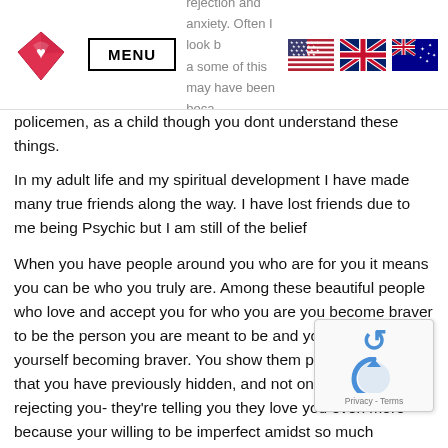MENU | [logo] | [flags: US, UK, AU] | rejection and anxiety. Often I look b... a some of this may have been beca...
policemen, as a child though you dont understand these things.
In my adult life and my spiritual development I have made many true friends along the way. I have lost friends due to me being Psychic but I am still of the belief
When you have people around you who are for you it means you can be who you truly are. Among these beautiful people who love and accept you for who you are you become braver to be the person you are meant to be and you do find yourself becoming braver. You show them parts of yourself that you have previously hidden, and not only are they not rejecting you- they're telling you they love you even more because your willing to be imperfect amidst so much pressure to be p
Confessions of imperfection come with an added bonu